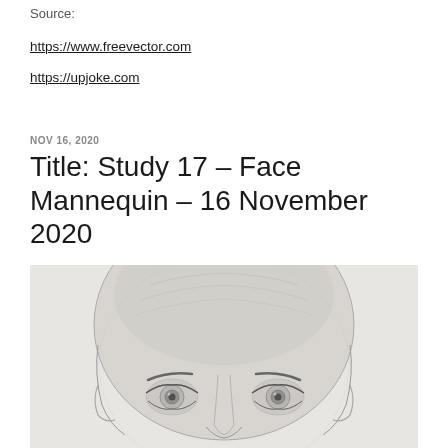Source:
https://www.freevector.com
https://upjoke.com
NOV 16, 2020
Title: Study 17 – Face Mannequin – 16 November 2020
[Figure (illustration): Pencil sketch drawing of a face mannequin head, showing bald head with facial features including eyes and eyebrows, rendered in graphite/pencil on white paper.]